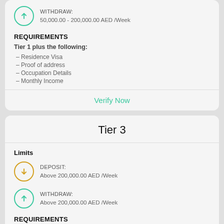[Figure (infographic): Withdraw icon (teal circle with up arrow) with text: WITHDRAW: 50,000.00 - 200,000.00 AED /Week]
REQUIREMENTS
Tier 1 plus the following:
- Residence Visa
- Proof of address
- Occupation Details
- Monthly Income
Verify Now
Tier 3
Limits
[Figure (infographic): Deposit icon (gold circle with down arrow) with text: DEPOSIT: Above 200,000.00 AED /Week]
[Figure (infographic): Withdraw icon (teal circle with up arrow) with text: WITHDRAW: Above 200,000.00 AED /Week]
REQUIREMENTS
Tier 2 plus the following:
- Net Worth